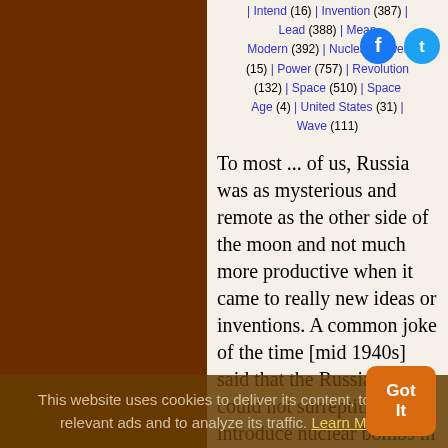| Intend (16) | Invention (387) | Lead (388) | Mean | Modern (392) | Nuclear Power (15) | Power (757) | Revolution (132) | Space (510) | Space Age (4) | United States (31) | Wave (111)
To most ... of us, Russia was as mysterious and remote as the other side of the moon and not much more productive when it came to really new ideas or inventions. A common joke of the time [mid 1940s] said that the Russians could not surreptitiously introduce nuclear bombs in suitcases into the United States because they had not yet been
This website uses cookies to deliver its content, to show relevant ads and to analyze its traffic. Learn More